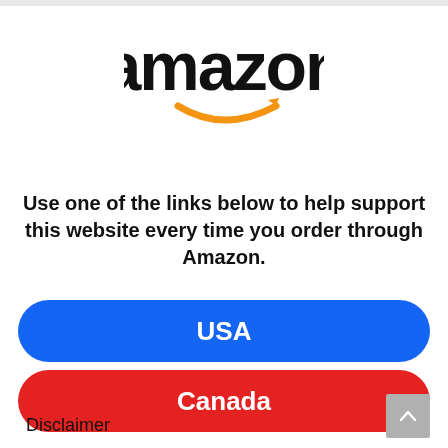[Figure (logo): Amazon logo with orange arrow smile beneath black text]
Use one of the links below to help support this website every time you order through Amazon.
[Figure (infographic): Blue rounded button labeled USA]
[Figure (infographic): Red rounded button labeled Canada]
Disclaimer